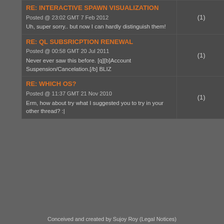| Post Title | Replies | Category |
| --- | --- | --- |
| RE: INTERACTIVE SPAWN VISUALIZATION
Posted @ 23:02 GMT 7 Feb 2012
Uh, super sorry.. but now I can hardly distinguish them! | (1) | News |
| RE: QL SUBSRICPTION RENEWAL
Posted @ 00:58 GMT 20 Jul 2011
Never ever saw this before. [q][b]Account Suspension/Cancelation.[/b] BLIZ | (1) | Poll |
| RE: WHICH OS?
Posted @ 11:37 GMT 21 Nov 2010
Erm, how about try what I suggested you to try in your other thread? :| | (1) | Journal |
Conceived and created by Sujoy Roy (Legal Notices)